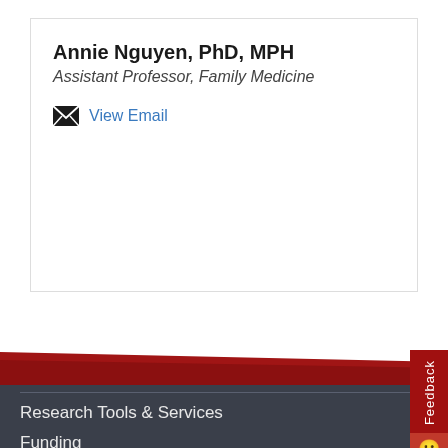Annie Nguyen, PhD, MPH
Assistant Professor, Family Medicine
View Email
Research Tools & Services
Funding
Training & Education